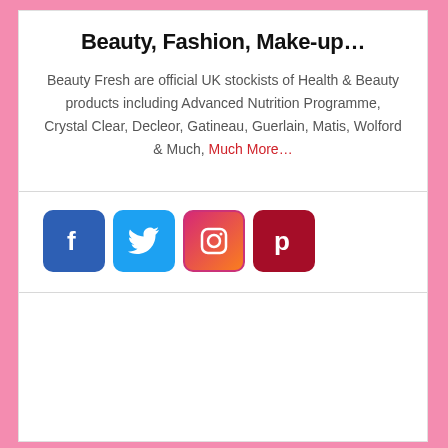Beauty, Fashion, Make-up…
Beauty Fresh are official UK stockists of Health & Beauty products including Advanced Nutrition Programme, Crystal Clear, Decleor, Gatineau, Guerlain, Matis, Wolford & Much, Much More…
[Figure (other): Row of four social media icons: Facebook (blue), Twitter (light blue), Instagram (pink/orange gradient), Pinterest (dark red)]